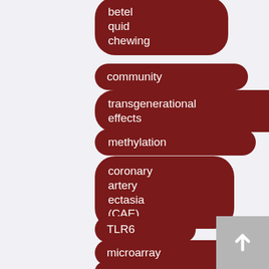[Figure (infographic): A vertical list of dark red rounded pill/tag buttons with white text labels representing medical/scientific keywords: betel quid chewing, community, transgenerational effects, methylation, coronary artery ectasia (CAE), TLR6, microarray, and a partially visible tag at bottom. A grey scroll-up button appears bottom right.]